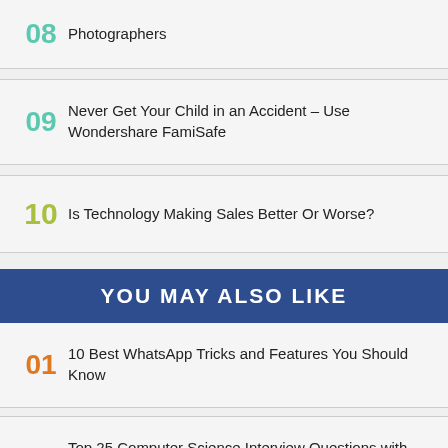Photographers
09  Never Get Your Child in an Accident – Use Wondershare FamiSafe
10  Is Technology Making Sales Better Or Worse?
YOU MAY ALSO LIKE
01  10 Best WhatsApp Tricks and Features You Should Know
02  Top 25 Computer Science Interview Questions with Answers
03  5 Important Tips to Become a Good Java Developer